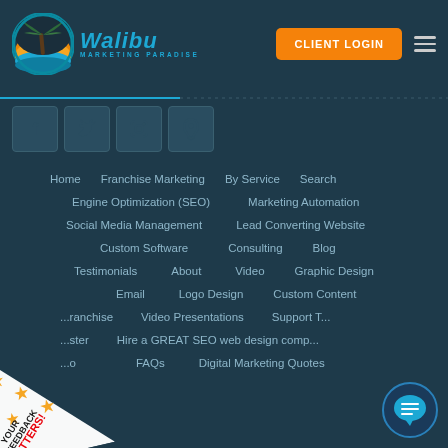Walibu Marketing Paradise — CLIENT LOGIN
[Figure (logo): Walibu Marketing Paradise logo with palm tree circle emblem, blue italic text 'Walibu' and 'MARKETING PARADISE' subtitle]
[Figure (infographic): Social media icons: Facebook, Twitter, Instagram, Google Maps/Location]
Home
Franchise Marketing
By Service
Search
Engine Optimization (SEO)
Marketing Automation
Social Media Management
Lead Converting Website
Custom Software
Consulting
Blog
Testimonials
About
Video
Graphic Design
Email
Logo Design
Custom Content
Franchise
Video Presentations
Support T...
...ster
Hire a GREAT SEO web design comp...
...o
FAQs
Digital Marketing Quotes
[Figure (infographic): YOUR FEEDBACK MATTERS! badge with gold stars, diagonal banner on bottom-left corner]
[Figure (infographic): Live chat bubble icon, blue circle with speech bubble, bottom-right corner]